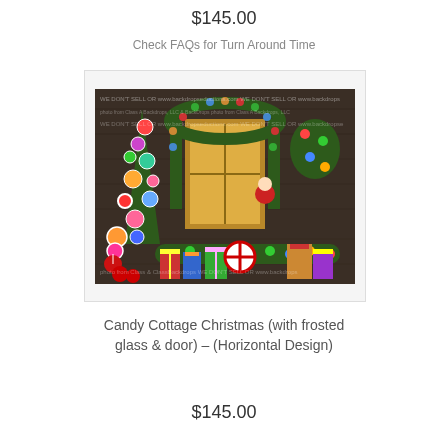$145.00
Check FAQs for Turn Around Time
[Figure (photo): Christmas backdrop photo showing a festive candy cottage scene with decorated trees covered in lollipops and candy ornaments, a frosted glass door with wreath, garlands, gifts, and holiday decorations on a rustic wooden background. Watermarked with backdrop company website text.]
Candy Cottage Christmas (with frosted glass & door) – (Horizontal Design)
$145.00